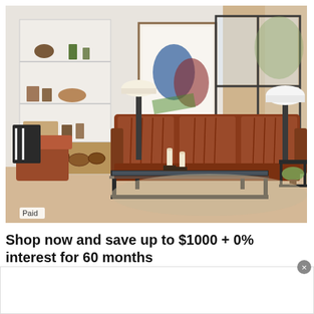[Figure (photo): A stylish living room with a brown leather recliner sofa, glass coffee table with black metal frame, white bookshelves with decorative items, a framed abstract painting, large windows with beige curtains, and a fireplace with stacked logs. A 'Paid' label appears in the bottom left corner of the image.]
Shop now and save up to $1000 + 0% interest for 60 months